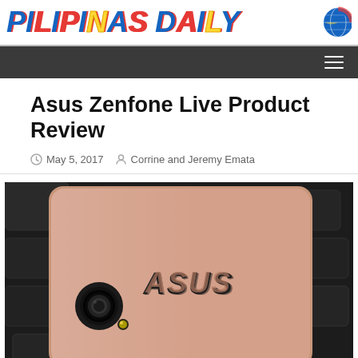PILIPINAS DAILY
Asus Zenfone Live Product Review
May 5, 2017   Corrine and Jeremy Emata
[Figure (photo): Close-up photo of the back of an Asus Zenfone Live smartphone in rose gold color, showing the ASUS logo and rear camera with LED flash, placed on a dark keyboard background. A small Pilipinas Daily watermark is visible at the bottom.]